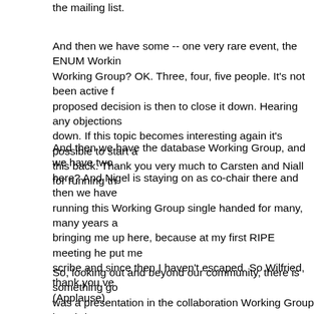the mailing list.
And then we have some -- one very rare event, the ENUM Working Group? OK. Three, four, five people. It's not been active for a long time but the proposed decision is then to close it down. Hearing any objections? OK. We close it down. If this topic becomes interesting again it's possible to start a new Working Group, bring this back. Thank you very much to Carsten and Niall for running th
And then we have the database Working Group, and we have two co-chairs here? And Nigel is staying on as co-chair there and then we have Wilfried who has been running this Working Group single handed for many, many years and I should thank him for bringing me up here, because at my first RIPE meeting he put me on the spot to be a scribe and since then I haven't escaped. So Wilfried, thank you ve (Applause)
So, looking out and beyond our community, there is something going on. There was a presentation in the collaboration Working Group by Chris and IANA has announced its intention to start a transition for ICANN, so in order to do that, to set up a team, a CRISP team, to consolidate a proposal from the RIR community, put three members in from each of the RIRs, two community members from RIPE NCC together with the names people and protocol people, give this input and bring it to the ICANN level which will then forward proposals to the NTIA. So we were asked to take part on this team, and there were exactly two candidates which are Nurani and Andrei, and I guess they are both well-known in the community. N is serving at this meeting on the Swedish delegation so she is very involved already and Andrei, as, you know, has also spent a lot of time lately in the Internet soc and the rest of the world. So, it was an easy task for me to pick th and then from the RIPE NCC staff it will be Paul Rendek, so we n